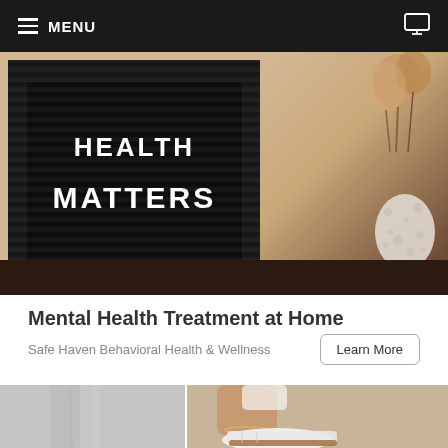≡ MENU
[Figure (photo): A black felt letter board inside a wooden frame displaying 'HEALTH MATTERS' in white letters, placed on a dark shelf next to pampas grass and a decorative shell/vase on a peach background]
Mental Health Treatment at Home
Safe Haven Behavioral Health & Wellness
[Figure (photo): Two-panel image: left shows light grey pants legs, right shows a person's foot and ankle wearing a white slide sandal with brown sole on a dark pavement]